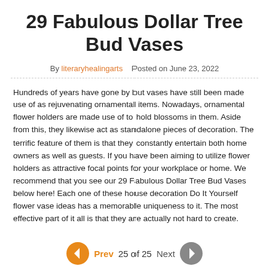29 Fabulous Dollar Tree Bud Vases
By literaryhealingarts   Posted on June 23, 2022
Hundreds of years have gone by but vases have still been made use of as rejuvenating ornamental items. Nowadays, ornamental flower holders are made use of to hold blossoms in them. Aside from this, they likewise act as standalone pieces of decoration. The terrific feature of them is that they constantly entertain both home owners as well as guests. If you have been aiming to utilize flower holders as attractive focal points for your workplace or home. We recommend that you see our 29 Fabulous Dollar Tree Bud Vases below here! Each one of these house decoration Do It Yourself flower vase ideas has a memorable uniqueness to it. The most effective part of it all is that they are actually not hard to create.
[Figure (infographic): Navigation bar with previous (orange) and next (gray) arrow buttons, showing '25 of 25' page indicator, with 'Prev' in orange and 'Next' in gray]